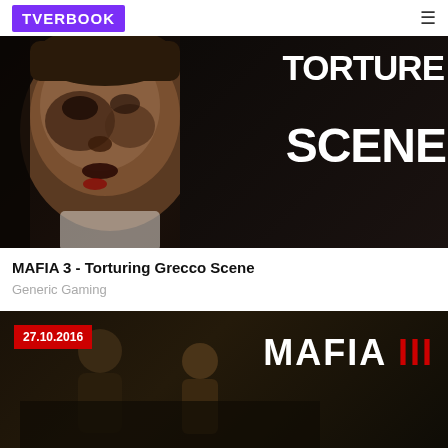TVERBOOK
[Figure (screenshot): Video thumbnail showing a battered/bloodied face on the left half with dark background, and bold white text reading 'TORTURE SCENE' on the right half]
MAFIA 3 - Torturing Grecco Scene
Generic Gaming
[Figure (screenshot): Video thumbnail with dark brown/moody background showing figures, a red date badge '27.10.2016' in top left, and bold white/red 'MAFIA III' text on the right]